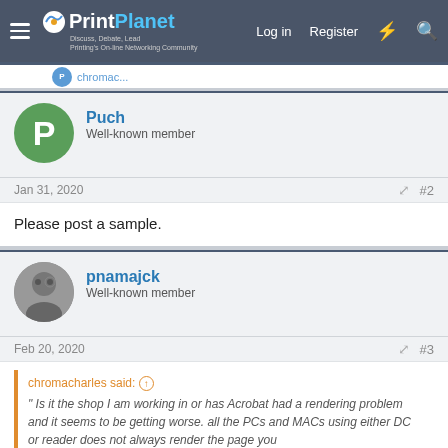PrintPlanet — Log in | Register
[previous post partial — author name cut off]
Puch
Well-known member
Jan 31, 2020  #2
Please post a sample.
pnamajck
Well-known member
Feb 20, 2020  #3
chromacharles said: ↑
" Is it the shop I am working in or has Acrobat had a rendering problem and it seems to be getting worse. all the PCs and MACs using either DC or reader does not always render the page you